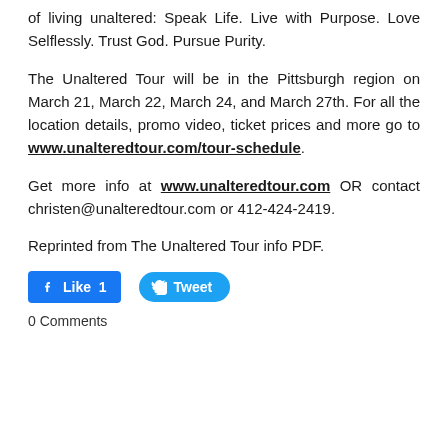of living unaltered: Speak Life. Live with Purpose. Love Selflessly. Trust God. Pursue Purity.
The Unaltered Tour will be in the Pittsburgh region on March 21, March 22, March 24, and March 27th. For all the location details, promo video, ticket prices and more go to www.unalteredtour.com/tour-schedule.
Get more info at www.unalteredtour.com OR contact christen@unalteredtour.com or 412-424-2419.
Reprinted from The Unaltered Tour info PDF.
[Figure (other): Facebook Like button showing count of 1 and Twitter Tweet button]
0 Comments